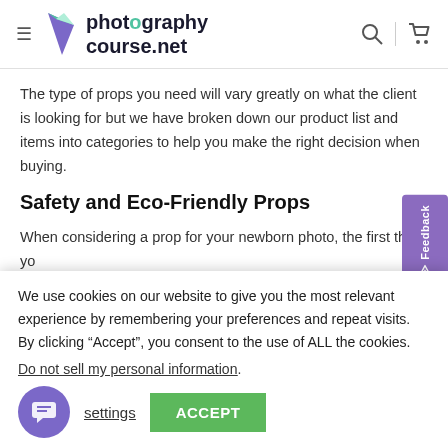photographycourse.net
The type of props you need will vary greatly on what the client is looking for but we have broken down our product list and items into categories to help you make the right decision when buying.
Safety and Eco-Friendly Props
When considering a prop for your newborn photo, the first thing you should always think about is what is it made out of? Keep in mind
We use cookies on our website to give you the most relevant experience by remembering your preferences and repeat visits. By clicking “Accept”, you consent to the use of ALL the cookies.
Do not sell my personal information.